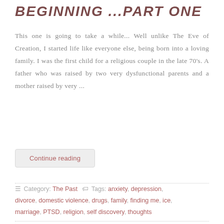BEGINNING ...PART ONE
This one is going to take a while... Well unlike The Eve of Creation, I started life like everyone else, being born into a loving family. I was the first child for a religious couple in the late 70's. A father who was raised by two very dysfunctional parents and a mother raised by very ...
Continue reading
Category: The Past   Tags: anxiety, depression, divorce, domestic violence, drugs, family, finding me, ice, marriage, PTSD, religion, self discovery, thoughts